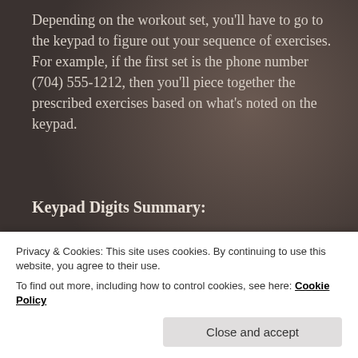Depending on the workout set, you'll have to go to the keypad to figure out your sequence of exercises. For example, if the first set is the phone number (704) 555-1212, then you'll piece together the prescribed exercises based on what's noted on the keypad.
Keypad Digits Summary:
1:  10 Sit Ups to Dumb bell Press
2:  15 Release Push Ups
Privacy & Cookies: This site uses cookies. By continuing to use this website, you agree to their use.
To find out more, including how to control cookies, see here: Cookie Policy